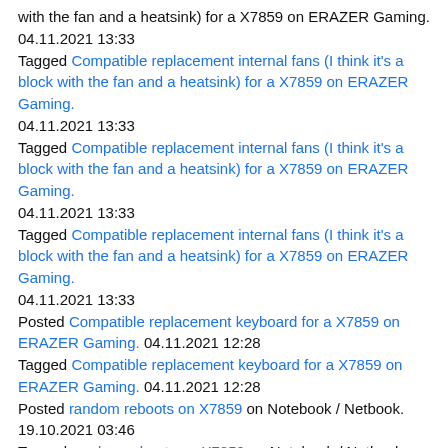with the fan and a heatsink) for a X7859 on ERAZER Gaming. 04.11.2021 13:33
Tagged Compatible replacement internal fans (I think it's a block with the fan and a heatsink) for a X7859 on ERAZER Gaming. 04.11.2021 13:33
Tagged Compatible replacement internal fans (I think it's a block with the fan and a heatsink) for a X7859 on ERAZER Gaming. 04.11.2021 13:33
Tagged Compatible replacement internal fans (I think it's a block with the fan and a heatsink) for a X7859 on ERAZER Gaming. 04.11.2021 13:33
Posted Compatible replacement keyboard for a X7859 on ERAZER Gaming. 04.11.2021 12:28
Tagged Compatible replacement keyboard for a X7859 on ERAZER Gaming. 04.11.2021 12:28
Posted random reboots on X7859 on Notebook / Netbook. 19.10.2021 03:46
Tagged random reboots on X7859 on Notebook / Netbook. 19.10.2021 03:46